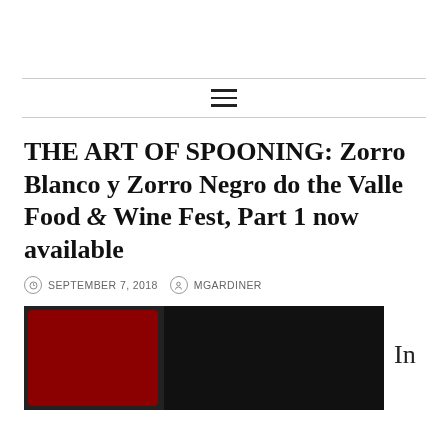THE ART OF SPOONING: Zorro Blanco y Zorro Negro do the Valle Food & Wine Fest, Part 1 now available
SEPTEMBER 7, 2018   MGARDINER
[Figure (photo): Collage photo featuring a red circular logo reading 'The Art of Spooning' and dark/black and white images, partially visible at bottom of page.]
In